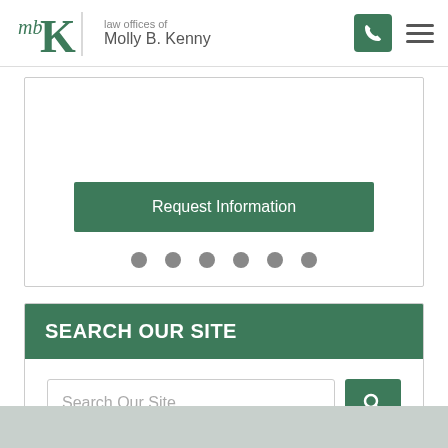[Figure (logo): Law Offices of Molly B. Kenny logo with mbK monogram in green]
[Figure (screenshot): Website screenshot showing a slider card with a green Request Information button and six navigation dots below]
SEARCH OUR SITE
[Figure (screenshot): Search box with placeholder text 'Search Our Site' and a green search button with magnifying glass icon]